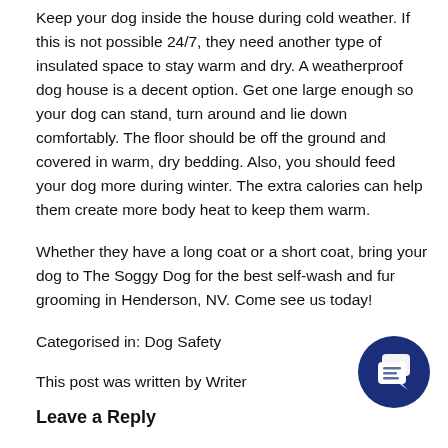Keep your dog inside the house during cold weather. If this is not possible 24/7, they need another type of insulated space to stay warm and dry. A weatherproof dog house is a decent option. Get one large enough so your dog can stand, turn around and lie down comfortably. The floor should be off the ground and covered in warm, dry bedding. Also, you should feed your dog more during winter. The extra calories can help them create more body heat to keep them warm.
Whether they have a long coat or a short coat, bring your dog to The Soggy Dog for the best self-wash and fur grooming in Henderson, NV. Come see us today!
Categorised in: Dog Safety
This post was written by Writer
Leave a Reply
[Figure (illustration): Dark blue circular chat/message icon with two overlapping speech bubbles]
Your email address will not be published. Required fields are marked *